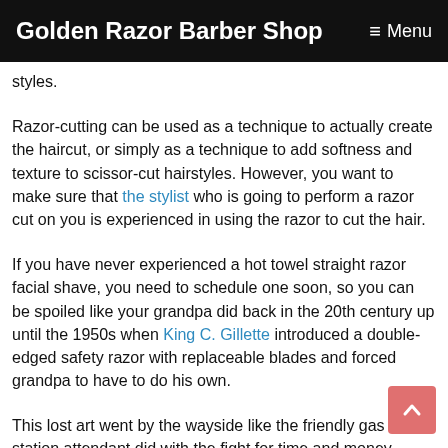Golden Razor Barber Shop  ≡ Menu
styles.
Razor-cutting can be used as a technique to actually create the haircut, or simply as a technique to add softness and texture to scissor-cut hairstyles. However, you want to make sure that the stylist who is going to perform a razor cut on you is experienced in using the razor to cut the hair.
If you have never experienced a hot towel straight razor facial shave, you need to schedule one soon, so you can be spoiled like your grandpa did back in the 20th century up until the 1950s when King C. Gillette introduced a double-edged safety razor with replaceable blades and forced grandpa to have to do his own.
This lost art went by the wayside like the friendly gas station attendant did with the fight for time and money